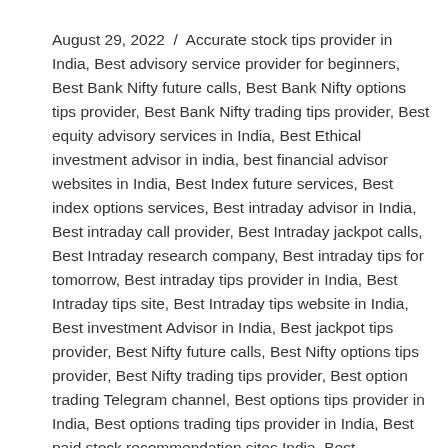August 29, 2022 / Accurate stock tips provider in India, Best advisory service provider for beginners, Best Bank Nifty future calls, Best Bank Nifty options tips provider, Best Bank Nifty trading tips provider, Best equity advisory services in India, Best Ethical investment advisor in india, best financial advisor websites in India, Best Index future services, Best index options services, Best intraday advisor in India, Best intraday call provider, Best Intraday jackpot calls, Best Intraday research company, Best intraday tips for tomorrow, Best intraday tips provider in India, Best Intraday tips site, Best Intraday tips website in India, Best investment Advisor in India, Best jackpot tips provider, Best Nifty future calls, Best Nifty options tips provider, Best Nifty trading tips provider, Best option trading Telegram channel, Best options tips provider in India, Best options trading tips provider in India, Best paid stock recommendation sites India, Best performing PMS in India, Best PMS in India, Best Portfolio Management services in India, Best SEBI registered advisory company, BEST SEBI REGISTERED INVESTMENT ADVISOR, Best SEBI registered